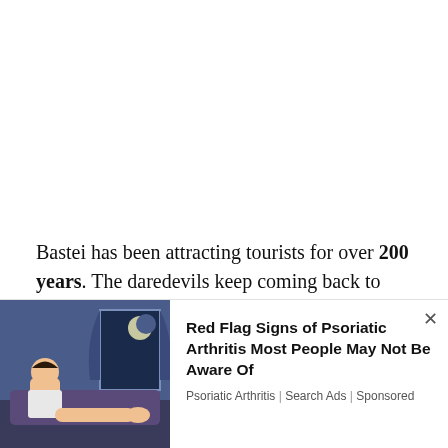Bastei has been attracting tourists for over 200 years. The daredevils keep coming back to this spot because of the serenity and allure it offers. Bastei has the most beautifully formed structures of Saxon Switzerland. Connecting the stone towers there is a stone bridge that adds a dramatic elegance to the view.
[Figure (illustration): Advertisement illustration showing a person sitting on a bed at night near a window with curtains, depicted in a blue-toned flat illustration style.]
Red Flag Signs of Psoriatic Arthritis Most People May Not Be Aware Of
Psoriatic Arthritis | Search Ads | Sponsored